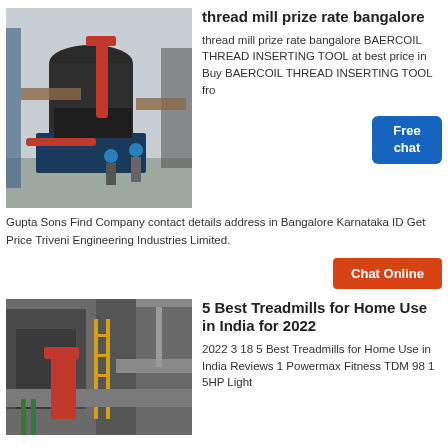[Figure (photo): Industrial machinery - large mill/crusher machine at a factory site with workers in blue helmets standing nearby, red mechanical arm visible]
thread mill prize rate bangalore
thread mill prize rate bangalore BAERCOIL THREAD INSERTING TOOL at best price in Buy BAERCOIL THREAD INSERTING TOOL from Gupta Sons Find Company contact details address in Bangalore Karnataka ID Get Price Triveni Engineering Industries Limited.
[Figure (other): Free chat bubble button - blue rounded rectangle with text 'Free chat']
[Figure (other): Chat Online orange button]
[Figure (photo): Industrial facility interior showing large equipment, piping, ducts, and a red crane or lift mechanism]
5 Best Treadmills for Home Use in India for 2022
2022 3 18 5 Best Treadmills for Home Use in India Reviews 1 Powermax Fitness TDM 98 1 5HP Light